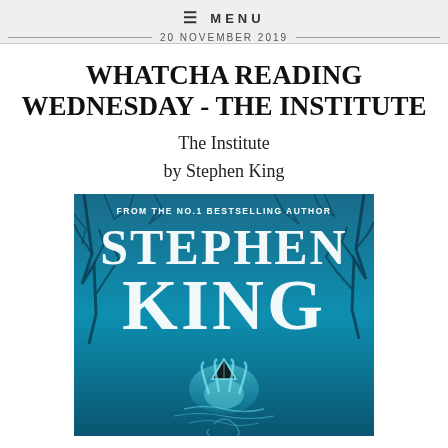≡ MENU
20 NOVEMBER 2019
WHATCHA READING WEDNESDAY - THE INSTITUTE
The Institute
by Stephen King
[Figure (photo): Book cover of 'The Institute' by Stephen King. Blue teal background with dark bare tree branches. Large white text reads 'FROM THE NO.1 BESTSELLING AUTHOR' at top, followed by 'STEPHEN KING' in large bold letters, then 'KING' in very large letters below. A glowing ethereal figure/hands visible in the lower portion of the cover.]